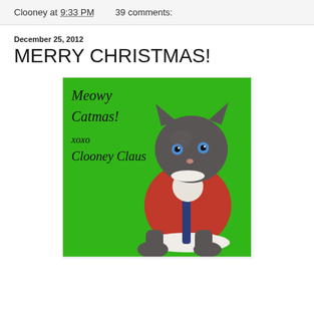Clooney at 9:33 PM    39 comments:
December 25, 2012
MERRY CHRISTMAS!
[Figure (photo): A grey cat dressed in a red Santa Claus outfit on a green background. Text on the image reads: 'Meowy Catmas! xoxo Clooney Claus']